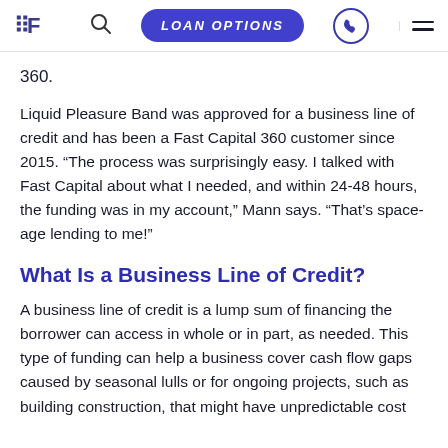LOAN OPTIONS
360.
Liquid Pleasure Band was approved for a business line of credit and has been a Fast Capital 360 customer since 2015. “The process was surprisingly easy. I talked with Fast Capital about what I needed, and within 24-48 hours, the funding was in my account,” Mann says. “That’s space-age lending to me!”
What Is a Business Line of Credit?
A business line of credit is a lump sum of financing the borrower can access in whole or in part, as needed. This type of funding can help a business cover cash flow gaps caused by seasonal lulls or for ongoing projects, such as building construction, that might have unpredictable cost